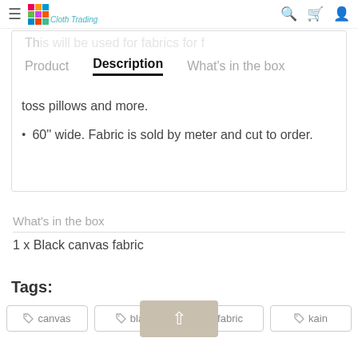≡ Cloth Trading
toss pillows and more.
60'' wide. Fabric is sold by meter and cut to order.
What's in the box
1 x Black canvas fabric
Tags:
canvas
black
fabric
kain